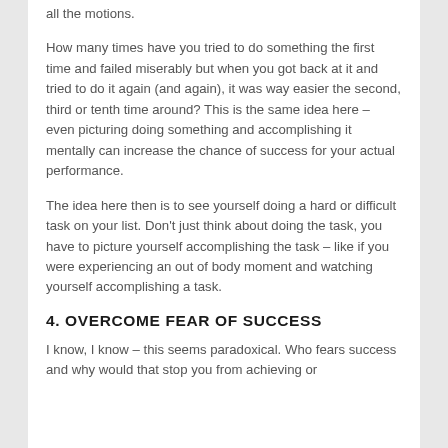all the motions.
How many times have you tried to do something the first time and failed miserably but when you got back at it and tried to do it again (and again), it was way easier the second, third or tenth time around? This is the same idea here – even picturing doing something and accomplishing it mentally can increase the chance of success for your actual performance.
The idea here then is to see yourself doing a hard or difficult task on your list. Don't just think about doing the task, you have to picture yourself accomplishing the task – like if you were experiencing an out of body moment and watching yourself accomplishing a task.
4. OVERCOME FEAR OF SUCCESS
I know, I know – this seems paradoxical. Who fears success and why would that stop you from achieving or